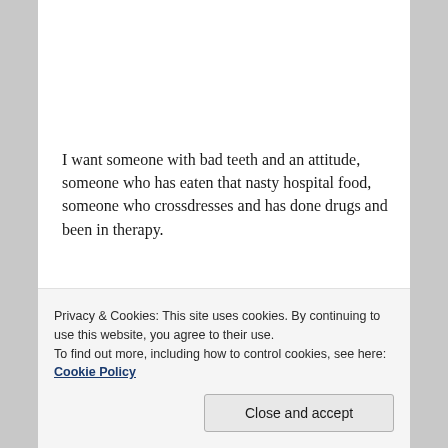I want someone with bad teeth and an attitude, someone who has eaten that nasty hospital food, someone who crossdresses and has done drugs and been in therapy.
I want someone who has committed civil disobedience.
And I want to know why this isn't possible.
I want to know why we started learning somewhere down the line that a president is always a clown: always a john and never a hooker.
Privacy & Cookies: This site uses cookies. By continuing to use this website, you agree to their use.
To find out more, including how to control cookies, see here: Cookie Policy